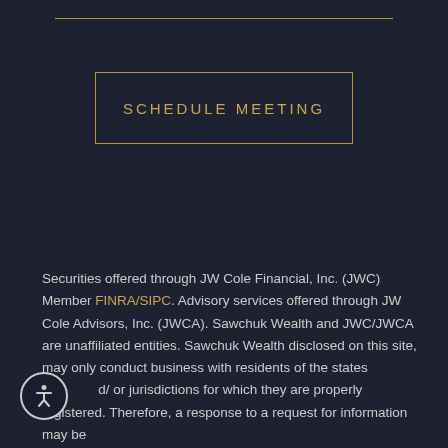SCHEDULE MEETING
Securities offered through JW Cole Financial, Inc. (JWC) Member FINRA/SIPC. Advisory services offered through JW Cole Advisors, Inc. (JWCA). Sawchuk Wealth and JWC/JWCA are unaffiliated entities. Sawchuk Wealth disclosed on this site, may only conduct business with residents of the states and/ or jurisdictions for which they are properly registered. Therefore, a response to a request for information may be